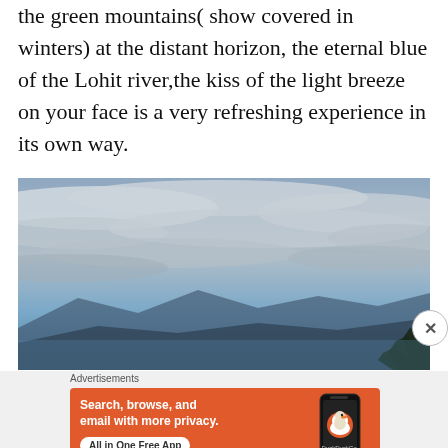the green mountains( show covered in winters) at the distant horizon, the eternal blue of the Lohit river,the kiss of the light breeze on your face is a very refreshing experience in its own way.
[Figure (photo): Outdoor landscape photo showing a cloudy blue-grey sky with trees silhouetted at the bottom right and mountains visible at the lower horizon]
Advertisements
[Figure (screenshot): DuckDuckGo advertisement banner with orange background. Text reads: Search, browse, and email with more privacy. All in One Free App. Shows a DuckDuckGo app icon on a phone mockup.]